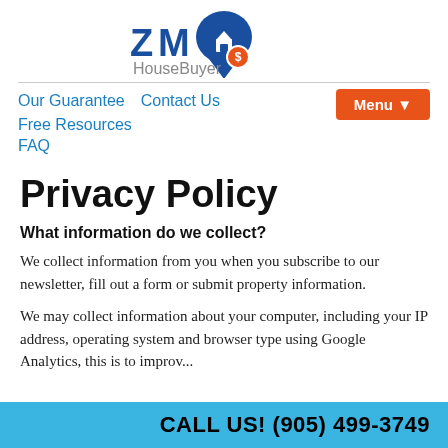[Figure (logo): Zoom HouseBuyer logo with map pin icon containing house and dollar sign, blue and orange text]
Our Guarantee   Contact Us   Free Resources   FAQ   Menu▼
Privacy Policy
What information do we collect?
We collect information from you when you subscribe to our newsletter, fill out a form or submit property information.
We may collect information about your computer, including your IP address, operating system and browser type using Google Analytics, this is to improv...
CALL US! (905) 499-3749